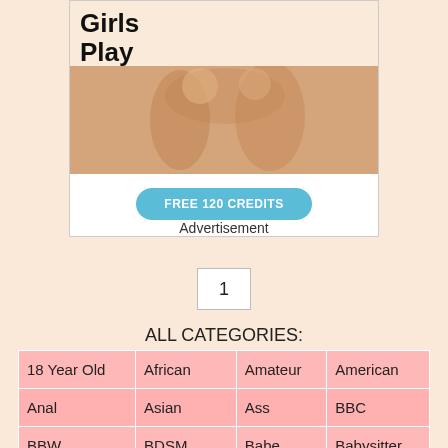[Figure (photo): Advertisement banner with text 'Girls Play', image of women, and a blue button reading 'FREE 120 CREDITS']
Advertisement
1
ALL CATEGORIES:
| 18 Year Old | African | Amateur | American |
| Anal | Asian | Ass | BBC |
| BBW | BDSM | Babe | Babysitter |
| Bareback | Bathroom | Beach | Beauty |